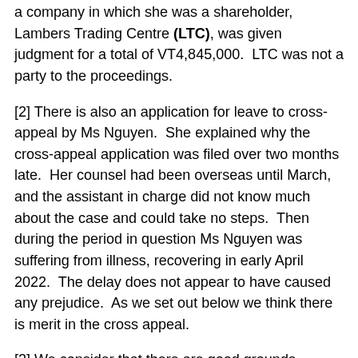a company in which she was a shareholder, Lambers Trading Centre (LTC), was given judgment for a total of VT4,845,000.  LTC was not a party to the proceedings.
[2] There is also an application for leave to cross-appeal by Ms Nguyen.  She explained why the cross-appeal application was filed over two months late.  Her counsel had been overseas until March, and the assistant in charge did not know much about the case and could take no steps.  Then during the period in question Ms Nguyen was suffering from illness, recovering in early April 2022.  The delay does not appear to have caused any prejudice.  As we set out below we think there is merit in the cross appeal.
[3] We consider that there are good grounds explaining the delay and that fairness should entitle the cross-appeal to be heard.  Leave is therefore granted.